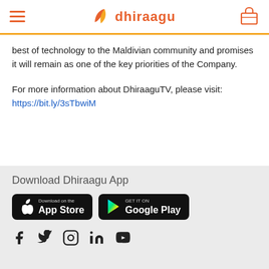dhiraagu
best of technology to the Maldivian community and promises it will remain as one of the key priorities of the Company.
For more information about DhiraaguTV, please visit: https://bit.ly/3sTbwiM
Download Dhiraagu App
[Figure (other): App Store and Google Play download buttons]
[Figure (other): Social media icons: Facebook, Twitter, Instagram, LinkedIn, YouTube]